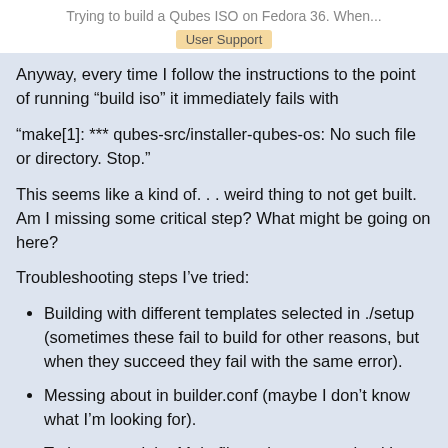Trying to build a Qubes ISO on Fedora 36. When...
User Support
Anyway, every time I follow the instructions to the point of running “build iso” it immediately fails with
“make[1]: *** qubes-src/installer-qubes-os: No such file or directory. Stop.”
This seems like a kind of. . . weird thing to not get built. Am I missing some critical step? What might be going on here?
Troubleshooting steps I’ve tried:
Building with different templates selected in ./setup (sometimes these fail to build for other reasons, but when they succeed they fail with the same error).
Messing about in builder.conf (maybe I don’t know what I’m looking for).
Trying to read the Makefile and suss out what it’s doing (the error references line 523. That line is just an @echo, but the line before it “iso.clean-repos:” which seams likely to be relevant and some grepping / googling leads me to